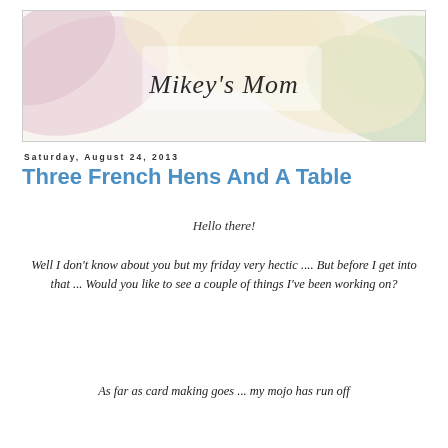[Figure (illustration): Blog banner header image with soft pastel colored paper/flower shapes in pink, green, and yellow tones, with cursive text reading 'Mikey's Mom' in the center]
Saturday, August 24, 2013
Three French Hens And A Table
Hello there!
Well I don't know about you but my friday very hectic .... But before I get into that ... Would you like to see a couple of things I've been working on?
As far as card making goes ... my mojo has run off